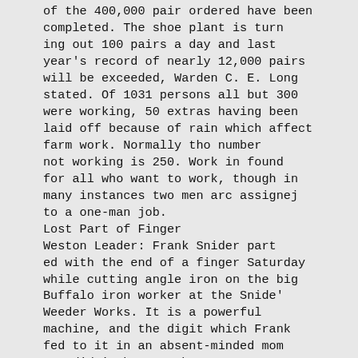of the 400,000 pair ordered have been completed. The shoe plant is turning out 100 pairs a day and last year's record of nearly 12,000 pairs will be exceeded, Warden C. E. Long stated. Of 1031 persons all but 300 were working, 50 extras having been laid off because of rain which affect farm work. Normally tho number not working is 250. Work in found for all who want to work, though in many instances two men arc assignej to a one-man job.
Lost Part of Finger
Weston Leader: Frank Snider parted with the end of a finger Saturday while cutting angle iron on the big Buffalo iron worker at the Snide' Weeder Works. It is a powerful machine, and the digit which Frank fed to it in an absent-minded moment didn't have a chance. He went on working for awhile after having the wounded finger dressed, but cf towned decided it to be the nurt of